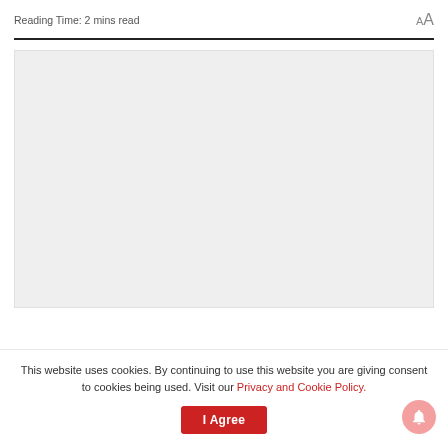Reading Time: 2 mins read
[Figure (other): Light gray rectangular image placeholder area]
This website uses cookies. By continuing to use this website you are giving consent to cookies being used. Visit our Privacy and Cookie Policy.
I Agree